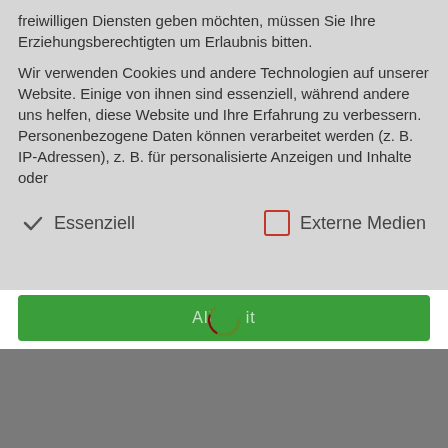freiwilligen Diensten geben möchten, müssen Sie Ihre Erziehungsberechtigten um Erlaubnis bitten.
Wir verwenden Cookies und andere Technologien auf unserer Website. Einige von ihnen sind essenziell, während andere uns helfen, diese Website und Ihre Erfahrung zu verbessern. Personenbezogene Daten können verarbeitet werden (z. B. IP-Adressen), z. B. für personalisierte Anzeigen und Inhalte oder
Essenziell
Externe Medien
[Figure (screenshot): Green button with loading spinner overlay and partial button text]